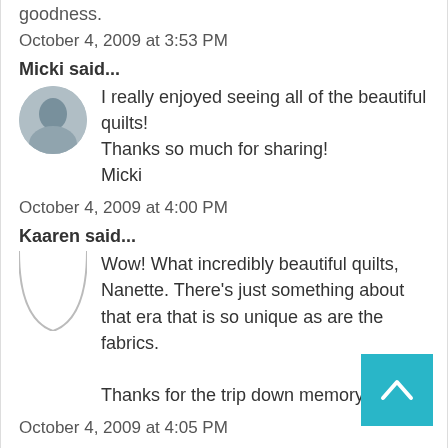goodness.
October 4, 2009 at 3:53 PM
Micki said...
I really enjoyed seeing all of the beautiful quilts!
Thanks so much for sharing!
Micki
October 4, 2009 at 4:00 PM
Kaaren said...
Wow! What incredibly beautiful quilts, Nanette. There's just something about that era that is so unique as are the fabrics.

Thanks for the trip down memory lane.
October 4, 2009 at 4:05 PM
Nedra said...